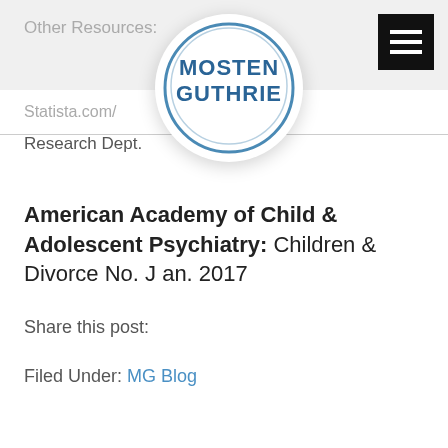Other Resources:
Statista.com/... atista
Research Dept.
[Figure (logo): Mosten Guthrie circular logo with blue text and blue circle border on white background]
American Academy of Child & Adolescent Psychiatry: Children & Divorce No. J an. 2017
Share this post:
Filed Under: MG Blog